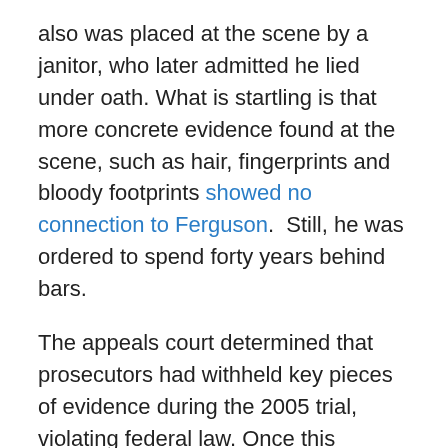also was placed at the scene by a janitor, who later admitted he lied under oath. What is startling is that more concrete evidence found at the scene, such as hair, fingerprints and bloody footprints showed no connection to Ferguson.  Still, he was ordered to spend forty years behind bars.
The appeals court determined that prosecutors had withheld key pieces of evidence during the 2005 trial, violating federal law. Once this decision was made, Missouri Attorney General Chris Koster had the choice to charge Ferguson again or to make him a free man. He chose to release Ferguson, noting that new charges would not be filed "at this time."
Is Ryan Ferguson innocent of murder? Perhaps. He has not officially been declared an innocent party in this crime,